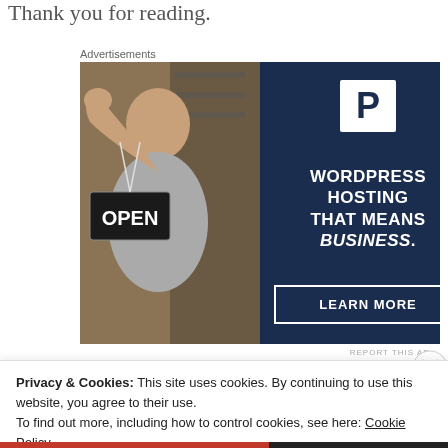Thank you for reading.
Advertisements
[Figure (infographic): WordPress hosting advertisement showing a smiling woman holding an OPEN sign on the left (photo), and on the right a dark navy panel with a P logo, text 'WORDPRESS HOSTING THAT MEANS BUSINESS.' and a 'LEARN MORE' button.]
REPORT THIS AD
Privacy & Cookies: This site uses cookies. By continuing to use this website, you agree to their use.
To find out more, including how to control cookies, see here: Cookie Policy
Close and accept